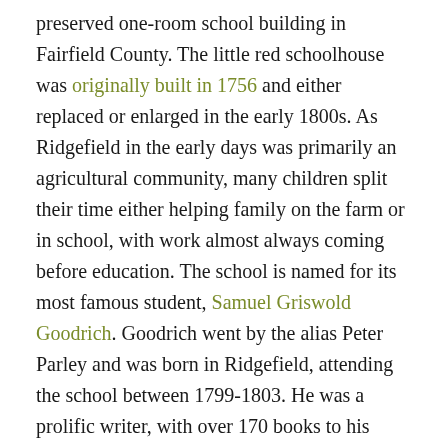preserved one-room school building in Fairfield County. The little red schoolhouse was originally built in 1756 and either replaced or enlarged in the early 1800s. As Ridgefield in the early days was primarily an agricultural community, many children split their time either helping family on the farm or in school, with work almost always coming before education. The school is named for its most famous student, Samuel Griswold Goodrich. Goodrich went by the alias Peter Parley and was born in Ridgefield, attending the school between 1799-1803. He was a prolific writer, with over 170 books to his credit, and is believed by many to have written the first American textbooks. Samuel wrote about his experiences as a student there, giving locals and historians a look into early life in the town. In the early 1900s, the town consolidated schools and this building was closed. The town seemed to simply close the building and it saw some neglect over time until the Ridgefield Historical